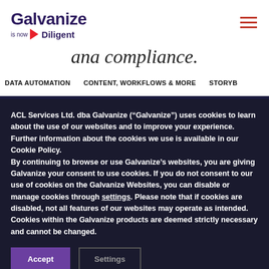Galvanize is now Diligent
ana compliance.
DATA AUTOMATION   CONTENT, WORKFLOWS & MORE   STORYB
ACL Services Ltd. dba Galvanize (“Galvanize”) uses cookies to learn about the use of our websites and to improve your experience. Further information about the cookies we use is available in our Cookie Policy. By continuing to browse or use Galvanize’s websites, you are giving Galvanize your consent to use cookies. If you do not consent to our use of cookies on the Galvanize Websites, you can disable or manage cookies through settings. Please note that if cookies are disabled, not all features of our websites may operate as intended. Cookies within the Galvanize products are deemed strictly necessary and cannot be changed.